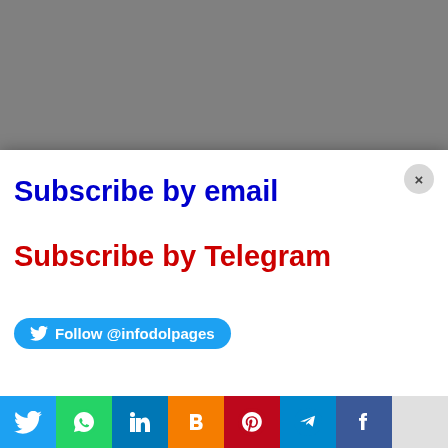[Figure (screenshot): Gray background area at the top of the page]
Subscribe by email
Subscribe by Telegram
Follow @infodolpages
GATE Subject
Chemical (CH), Electronic & Communication (RC), Mechanical (M), Engineering Science (XL)
[Figure (infographic): Social media sharing icons bar at the bottom: Twitter, WhatsApp, LinkedIn, Blogger, Pinterest, Telegram, Facebook, and a white/blank icon]